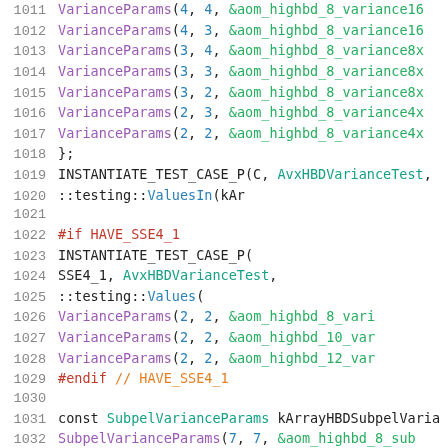Source code listing, lines 1011-1032, showing C++ test case instantiation for variance parameters
1011  VarianceParams(4, 4, &aom_highbd_8_variance16...
1012  VarianceParams(4, 3, &aom_highbd_8_variance16...
1013  VarianceParams(3, 4, &aom_highbd_8_variance8x...
1014  VarianceParams(3, 3, &aom_highbd_8_variance8x...
1015  VarianceParams(3, 2, &aom_highbd_8_variance8x...
1016  VarianceParams(2, 3, &aom_highbd_8_variance4x...
1017  VarianceParams(2, 2, &aom_highbd_8_variance4x...
1018  };
1019  INSTANTIATE_TEST_CASE_P(C, AvxHBDVarianceTest,...
1020      ::testing::ValuesIn(kAr...
1021
1022  #if HAVE_SSE4_1
1023  INSTANTIATE_TEST_CASE_P(
1024      SSE4_1, AvxHBDVarianceTest,
1025      ::testing::Values(
1026          VarianceParams(2, 2, &aom_highbd_8_vari...
1027          VarianceParams(2, 2, &aom_highbd_10_var...
1028          VarianceParams(2, 2, &aom_highbd_12_var...
1029  #endif  // HAVE_SSE4_1
1030
1031  const SubpelVarianceParams kArrayHBDSubpelVaria...
1032    SubpelVarianceParams(7, 7, &aom_highbd_8_sub...